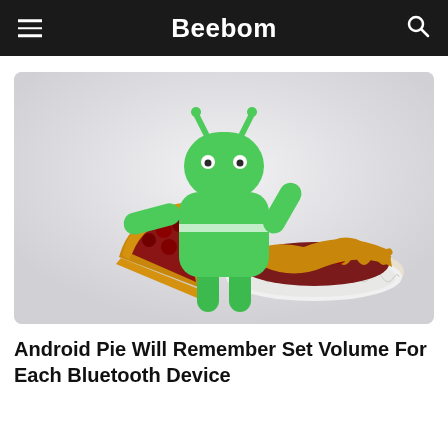Beebom
[Figure (photo): Android Pie mascot figurine (green Android robot) holding a slice of cherry pie, with a full cherry pie in a white dish to its right, on a light gray background.]
Android Pie Will Remember Set Volume For Each Bluetooth Device